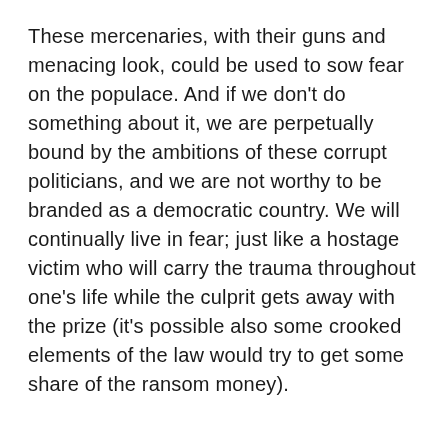These mercenaries, with their guns and menacing look, could be used to sow fear on the populace. And if we don't do something about it, we are perpetually bound by the ambitions of these corrupt politicians, and we are not worthy to be branded as a democratic country. We will continually live in fear; just like a hostage victim who will carry the trauma throughout one's life while the culprit gets away with the prize (it's possible also some crooked elements of the law would try to get some share of the ransom money).